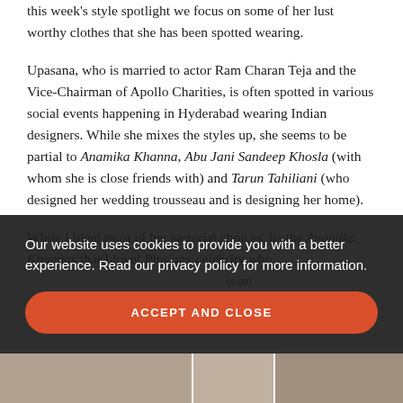this week's style spotlight we focus on some of her lust worthy clothes that she has been spotted wearing.
Upasana, who is married to actor Ram Charan Teja and the Vice-Chairman of Apollo Charities, is often spotted in various social events happening in Hyderabad wearing Indian designers. While she mixes the styles up, she seems to be partial to Anamika Khanna, Abu Jani Sandeep Khosla (with whom she is close friends with) and Tarun Tahiliani (who designed her wedding trousseau and is designing her home).
While I liked most of her sartorial choices, its the Anamika Khannas that I love! Plus any celebrity who ... is an ...
Our website uses cookies to provide you with a better experience. Read our privacy policy for more information.
ACCEPT AND CLOSE
[Figure (photo): Partial bottom strip showing three cropped photo images of people]